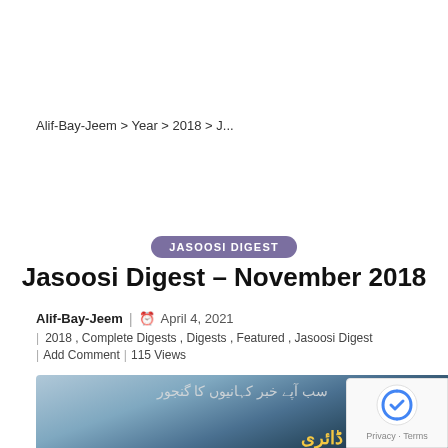Alif-Bay-Jeem > Year > 2018 > J...
JASOOSI DIGEST
Jasoosi Digest – November 2018
Alif-Bay-Jeem | April 4, 2021
2018 , Complete Digests , Digests , Featured , Jasoosi Digest
Add Comment | 115 Views
[Figure (photo): Cover of Jasoosi Digest November 2018, showing a dark bluish cover with Urdu script text in yellow and grey]